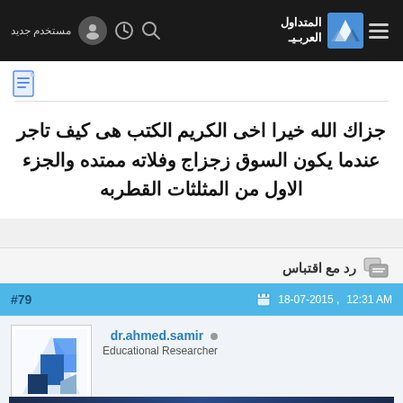المتداول العربي — navbar with user icon, search, clock, hamburger menu
[Figure (screenshot): Document/article icon in top right of post box]
جزاك الله خيرا اخى الكريم الكتب هى كيف تاجر عندما يكون السوق زجزاج وفلاته ممتده والجزء الاول من المثلثات القطربه
رد مع اقتباس
#79    18-07-2015 , 12:31 AM
dr.ahmed.samir
Educational Researcher
[Figure (logo): Al-Mutadawil Al-Arabi logo — blue/white angular geometric icon]
[Figure (photo): Royal advertisement banner with Arabic text and ROYAL brand name]